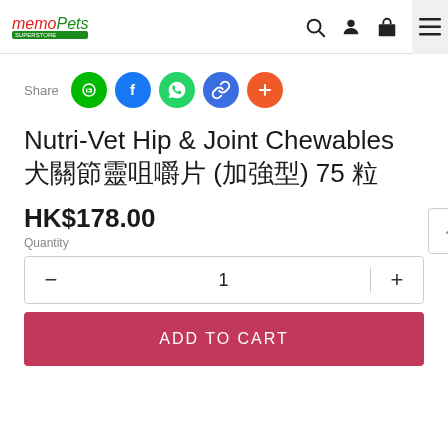memoPets — navigation header with search, account, cart, and menu icons
[Figure (other): Share row with social media circle buttons: LINE, Facebook, WhatsApp, link, and plus]
Nutri-Vet Hip & Joint Chewables □□□□□□ (□□□) 75 □
HK$178.00
Quantity
1
ADD TO CART